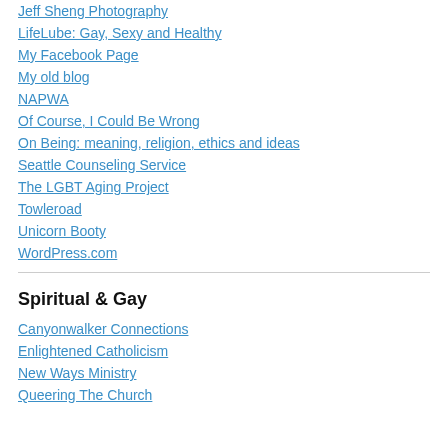Jeff Sheng Photography
LifeLube: Gay, Sexy and Healthy
My Facebook Page
My old blog
NAPWA
Of Course, I Could Be Wrong
On Being: meaning, religion, ethics and ideas
Seattle Counseling Service
The LGBT Aging Project
Towleroad
Unicorn Booty
WordPress.com
Spiritual & Gay
Canyonwalker Connections
Enlightened Catholicism
New Ways Ministry
Queering The Church